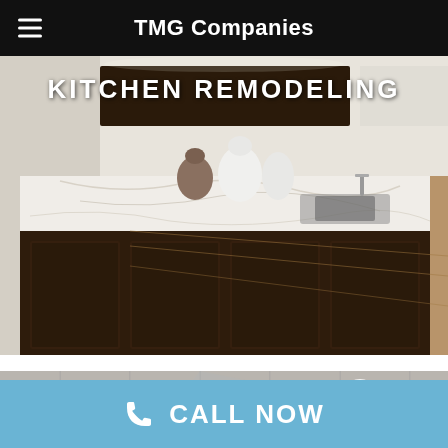TMG Companies
[Figure (photo): Kitchen remodeling photo showing a modern kitchen island with white marble countertop, dark wood cabinetry, and hardwood floors. Text overlay reads KITCHEN REMODELING.]
[Figure (photo): Bathroom remodeling photo showing a modern shower with large white tile walls and glass enclosure with recessed lighting.]
CALL NOW